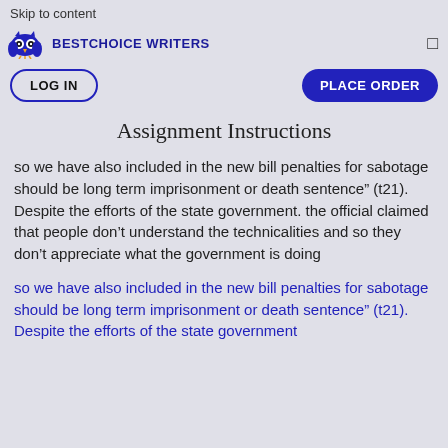Skip to content
BESTCHOICE WRITERS
LOG IN   PLACE ORDER
Assignment Instructions
so we have also included in the new bill penalties for sabotage should be long term imprisonment or death sentence” (t21). Despite the efforts of the state government. the official claimed that people don’t understand the technicalities and so they don’t appreciate what the government is doing
so we have also included in the new bill penalties for sabotage should be long term imprisonment or death sentence” (t21). Despite the efforts of the state government